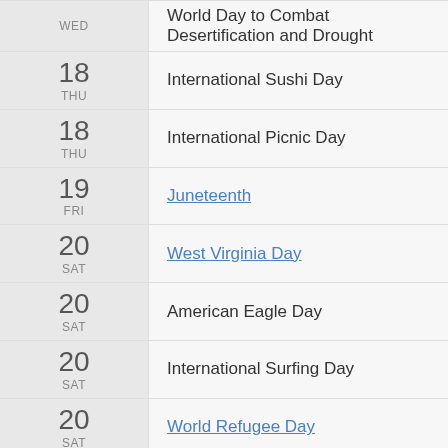WED — World Day to Combat Desertification and Drought
18 THU — International Sushi Day
18 THU — International Picnic Day
19 FRI — Juneteenth
20 SAT — West Virginia Day
20 SAT — American Eagle Day
20 SAT — International Surfing Day
20 SAT — World Refugee Day